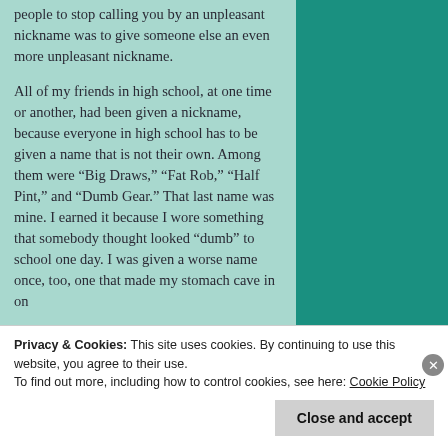people to stop calling you by an unpleasant nickname was to give someone else an even more unpleasant nickname.
All of my friends in high school, at one time or another, had been given a nickname, because everyone in high school has to be given a name that is not their own. Among them were “Big Draws,” “Fat Rob,” “Half Pint,” and “Dumb Gear.” That last name was mine. I earned it because I wore something that somebody thought looked “dumb” to school one day. I was given a worse name once, too, one that made my stomach cave in on
Privacy & Cookies: This site uses cookies. By continuing to use this website, you agree to their use.
To find out more, including how to control cookies, see here: Cookie Policy